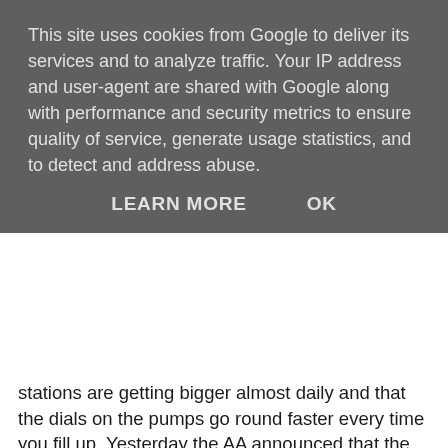This site uses cookies from Google to deliver its services and to analyze traffic. Your IP address and user-agent are shared with Google along with performance and security metrics to ensure quality of service, generate usage statistics, and to detect and address abuse.
LEARN MORE    OK
stations are getting bigger almost daily and that the dials on the pumps go round faster every time you fill up. Yesterday the AA announced that the average price of a litre of unleaded had reached a record of 140.2p. That's £6.37 per gallon. This information was passed to most newspaper readers this morning. Some used it as a filler, some as an inside top or page lead. The Telegraph splashed it under this banner
£100 to fill a family car
And that, pretty much, is the beginning and end of the story. We've hit a rather spurious landmark with the £1.40 and with a bit of engineering can approach the £100 tank. It's actually